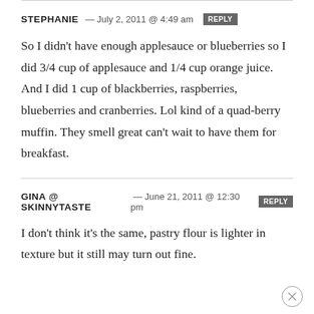STEPHANIE — July 2, 2011 @ 4:49 am  REPLY
So I didn't have enough applesauce or blueberries so I did 3/4 cup of applesauce and 1/4 cup orange juice. And I did 1 cup of blackberries, raspberries, blueberries and cranberries. Lol kind of a quad-berry muffin. They smell great can't wait to have them for breakfast.
GINA @ SKINNYTASTE — June 21, 2011 @ 12:30 pm  REPLY
I don't think it's the same, pastry flour is lighter in texture but it still may turn out fine.